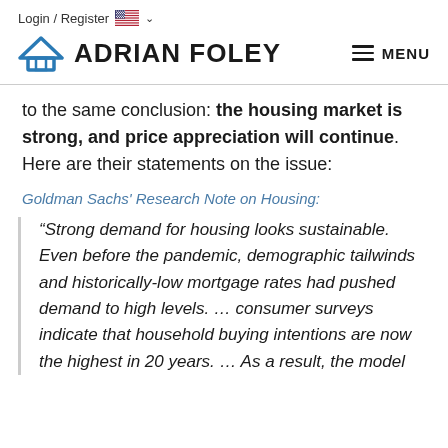Login / Register
ADRIAN FOLEY
to the same conclusion: the housing market is strong, and price appreciation will continue. Here are their statements on the issue:
Goldman Sachs' Research Note on Housing:
“Strong demand for housing looks sustainable. Even before the pandemic, demographic tailwinds and historically-low mortgage rates had pushed demand to high levels. … consumer surveys indicate that household buying intentions are now the highest in 20 years. … As a result, the model